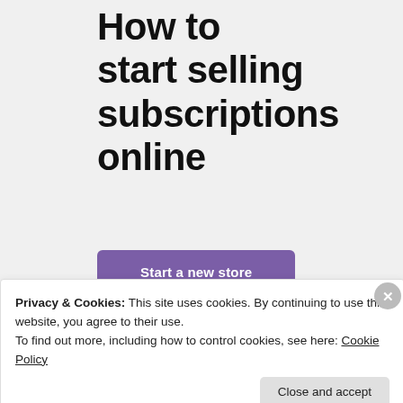How to start selling subscriptions online
[Figure (illustration): Purple button labeled 'Start a new store']
[Figure (illustration): Decorative geometric shapes in teal and cyan on a light gray background]
Privacy & Cookies: This site uses cookies. By continuing to use this website, you agree to their use.
To find out more, including how to control cookies, see here: Cookie Policy
Close and accept